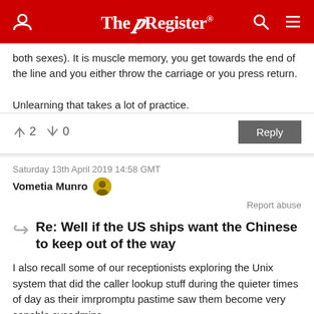The Register
both sexes). It is muscle memory, you get towards the end of the line and you either throw the carriage or you press return.

Unlearning that takes a lot of practice.
↑2  ↓0
Saturday 13th April 2019 14:58 GMT
Vometia Munro
Report abuse
Re: Well if the US ships want the Chinese to keep out of the way
I also recall some of our receptionists exploring the Unix system that did the caller lookup stuff during the quieter times of day as their imrpromptu pastime saw them become very capable sysadmins.